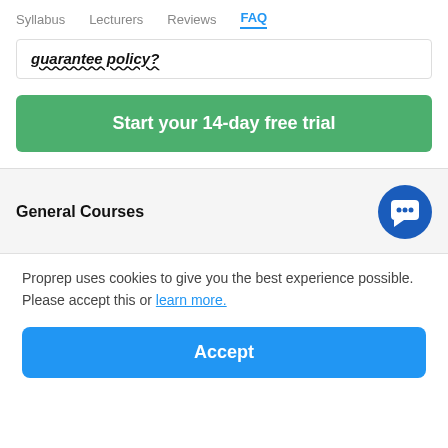Syllabus  Lecturers  Reviews  FAQ
guarantee policy?
Start your 14-day free trial
General Courses
[Figure (illustration): Blue circular chat/message icon]
Proprep uses cookies to give you the best experience possible. Please accept this or learn more.
Accept